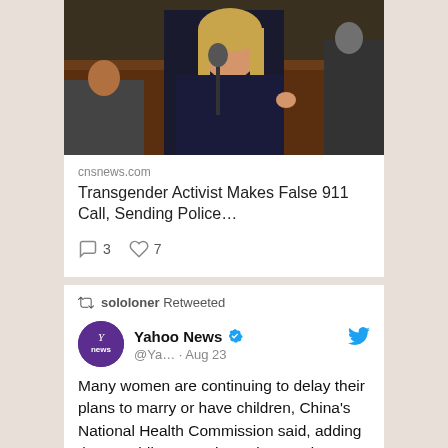[Figure (photo): A woman with blonde hair speaking at a microphone in what appears to be a legislative chamber with wood-paneled seats.]
cnsnews.com
Transgender Activist Makes False 911 Call, Sending Police…
3  7
sololoner Retweeted
[Figure (photo): Yahoo News purple logo avatar with 'news' text]
Yahoo News @Ya… · Aug 23
Many women are continuing to delay their plans to marry or have children, China's National Health Commission said, adding that providing more incentives and